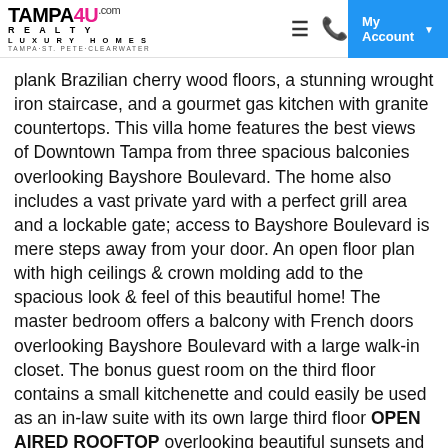TAMPA4U.com REALTY LUXURY HOMES TAMPA·ST. PETE·CLEARWATER | My Account
plank Brazilian cherry wood floors, a stunning wrought iron staircase, and a gourmet gas kitchen with granite countertops. This villa home features the best views of Downtown Tampa from three spacious balconies overlooking Bayshore Boulevard. The home also includes a vast private yard with a perfect grill area and a lockable gate; access to Bayshore Boulevard is mere steps away from your door. An open floor plan with high ceilings & crown molding add to the spacious look & feel of this beautiful home! The master bedroom offers a balcony with French doors overlooking Bayshore Boulevard with a large walk-in closet. The bonus guest room on the third floor contains a small kitchenette and could easily be used as an in-law suite with its own large third floor OPEN AIRED ROOFTOP overlooking beautiful sunsets and Bayshore. This fabulous home is conveniently located near Gandy Boulevard, making Tampa International Airport and St Petersburg very accessible. Popular destinations like Hyde Park Village, Channelside, Harbor Island, Ybor City, Downtown Tampa, and MacDill Air Force Base are minutes away. The home sale includes all appliances: a dishwasher,